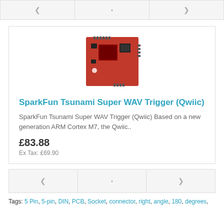[Figure (other): Top navigation/pagination bar with three cells containing symbols]
[Figure (photo): SparkFun Tsunami Super WAV Trigger (Qwiic) red PCB board product image]
SparkFun Tsunami Super WAV Trigger (Qwiic)
SparkFun Tsunami Super WAV Trigger (Qwiic) Based on a new generation ARM Cortex M7, the Qwiic..
£83.88
Ex Tax: £69.90
[Figure (other): Bottom navigation/pagination bar with three cells containing symbols]
Tags: 5 Pin, 5-pin, DIN, PCB, Socket, connector, right, angle, 180, degrees,